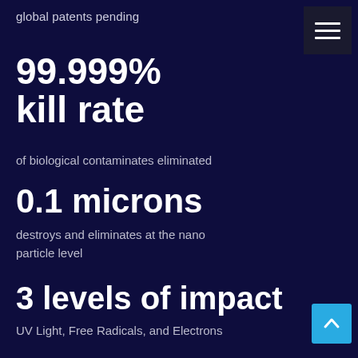global patents pending
99.999% kill rate
of biological contaminates eliminated
0.1 microns
destroys and eliminates at the nano particle level
3 levels of impact
UV Light, Free Radicals, and Electrons